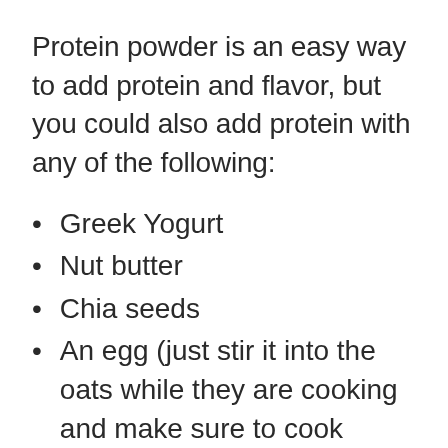Protein powder is an easy way to add protein and flavor, but you could also add protein with any of the following:
Greek Yogurt
Nut butter
Chia seeds
An egg (just stir it into the oats while they are cooking and make sure to cook